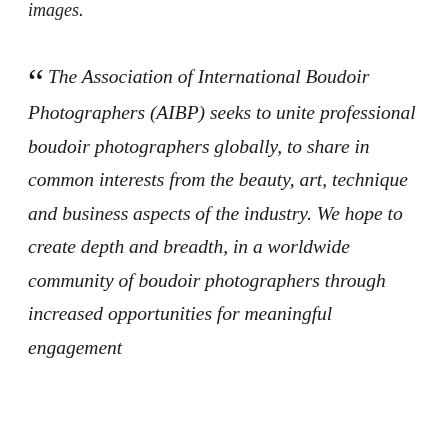images.
“ The Association of International Boudoir Photographers (AIBP) seeks to unite professional boudoir photographers globally, to share in common interests from the beauty, art, technique and business aspects of the industry. We hope to create depth and breadth, in a worldwide community of boudoir photographers through increased opportunities for meaningful engagement